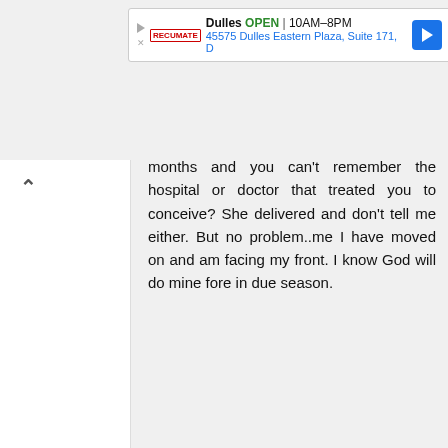[Figure (screenshot): Top advertisement banner: Dulles store, OPEN 10AM-8PM, 45575 Dulles Eastern Plaza, Suite 171, D. Blue navigation arrow icon on right.]
months and you can't remember the hospital or doctor that treated you to conceive? She delivered and don't tell me either. But no problem..me I have moved on and am facing my front. I know God will do mine fore in due season.
[Figure (screenshot): Advertisement for Furniture Max: Living Room Furniture In Stock. Shop Today and Get It Fast. Blue background banner ad.]
[Figure (screenshot): Advertisement for Firestone: Complete Brake Services. Shows Firestone store building photo on left. LEARN MORE button in blue.]